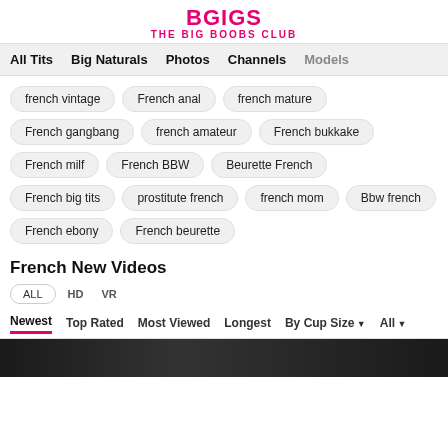THE BIG BOOBS CLUB
All Tits | Big Naturals | Photos | Channels | Models
french vintage
French anal
french mature
French gangbang
french amateur
French bukkake
French milf
French BBW
Beurette French
French big tits
prostitute french
french mom
Bbw french
French ebony
French beurette
French New Videos
ALL  HD  VR
Newest  Top Rated  Most Viewed  Longest  By Cup Size  All